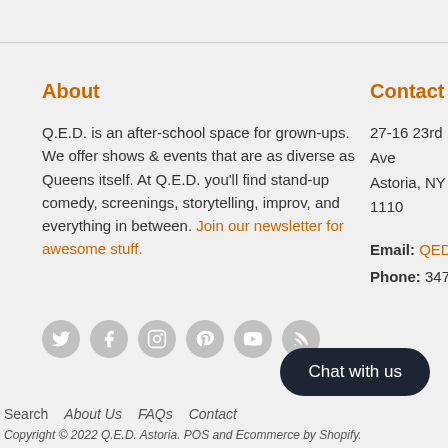About
Q.E.D. is an after-school space for grown-ups. We offer shows & events that are as diverse as Queens itself. At Q.E.D. you'll find stand-up comedy, screenings, storytelling, improv, and everything in between. Join our newsletter for awesome stuff.
[Figure (other): Row of 6 social media icon circles: Twitter, Facebook, Instagram, Pinterest, YouTube, RSS]
Contact Us
27-16 23rd Ave Astoria, NY 1110
Email: QEDAsto... Phone: 347.451...
[Figure (other): Chat with us button]
Search   About Us   FAQs   Contact
Copyright © 2022 Q.E.D. Astoria. POS and Ecommerce by Shopify.